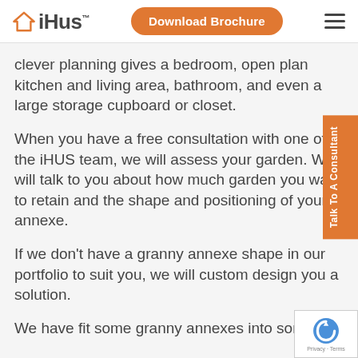iHus™ | Download Brochure
clever planning gives a bedroom, open plan kitchen and living area, bathroom, and even a large storage cupboard or closet.
When you have a free consultation with one of the iHUS team, we will assess your garden. We will talk to you about how much garden you want to retain and the shape and positioning of your annexe.
If we don't have a granny annexe shape in our portfolio to suit you, we will custom design you a solution.
We have fit some granny annexes into some